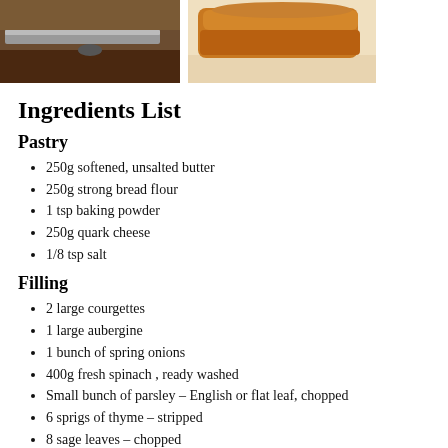[Figure (photo): Two food photos side by side: left shows a knife on a wooden surface, right shows a baked pastry item on a light background]
Ingredients List
Pastry
250g softened, unsalted butter
250g strong bread flour
1 tsp baking powder
250g quark cheese
1/8 tsp salt
Filling
2 large courgettes
1 large aubergine
1 bunch of spring onions
400g fresh spinach , ready washed
Small bunch of parsley – English or flat leaf, chopped
6 sprigs of thyme – stripped
8 sage leaves – chopped
200g whole cooked chestnuts, (vacuum –packed chestnuts